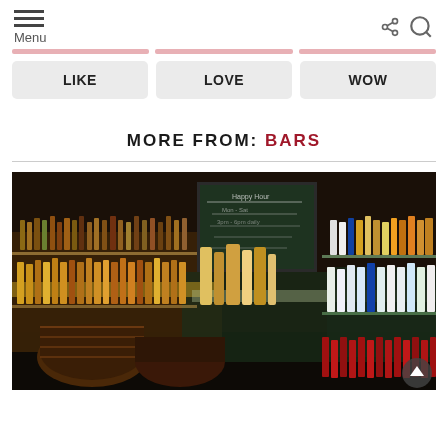Menu
[Figure (screenshot): Three pink/red horizontal bar decorations and three reaction buttons: LIKE, LOVE, WOW on light gray backgrounds]
MORE FROM: BARS
[Figure (photo): Interior photo of a bar with backlit shelves filled with hundreds of liquor bottles, a chalkboard sign in the background, and wooden barrels at the bottom left.]